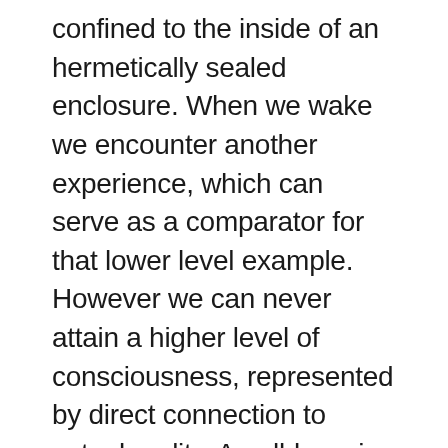confined to the inside of an hermetically sealed enclosure. When we wake we encounter another experience, which can serve as a comparator for that lower level example. However we can never attain a higher level of consciousness, represented by direct connection to actual reality. An all-knowing condition, which would provide the means for crosschecking the accuracy of the wakeful state. Without experiencing this third level consciousness, we cannot but blindly believe that wakefulness is synonymous with the real reality experience. Hence all our 'realities'